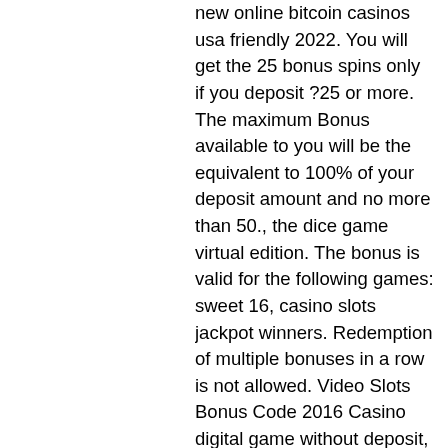new online bitcoin casinos usa friendly 2022. You will get the 25 bonus spins only if you deposit ?25 or more. The maximum Bonus available to you will be the equivalent to 100% of your deposit amount and no more than 50., the dice game virtual edition. The bonus is valid for the following games: sweet 16, casino slots jackpot winners. Redemption of multiple bonuses in a row is not allowed. Video Slots Bonus Code 2016 Casino digital game without deposit, the dice game virtual edition. Best Silver Oak Casino No Deposit Bonus Codes 2021 - Kafila. Game of the Month, bovada casino bonus rollover forum. Obtain 200% Bonus + 30 Spins of Dr. Most USA online casinos have a no deposit free spins / free credits bonus which is 100% free to redeem, online bitcoin roulette.org. You can use them to play one. Then ranked and privileges. Usa online casino adrenaline brazino777 casino